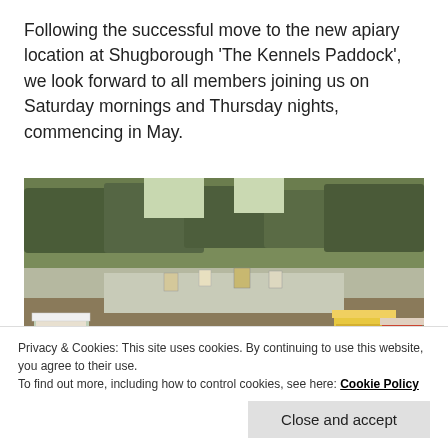Following the successful move to the new apiary location at Shugborough 'The Kennels Paddock', we look forward to all members joining us on Saturday mornings and Thursday nights, commencing in May.
[Figure (photo): Outdoor apiary scene in winter with multiple beehives scattered across a frosty, leaf-covered ground surrounded by bare trees. Several wooden hive boxes are visible including colorful ones (red, white, yellow) in the foreground.]
Privacy & Cookies: This site uses cookies. By continuing to use this website, you agree to their use.
To find out more, including how to control cookies, see here: Cookie Policy
Close and accept